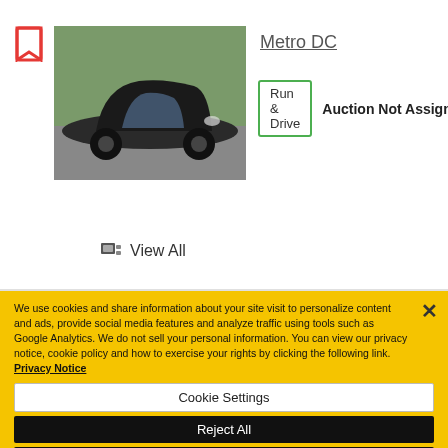[Figure (photo): A dark-colored sedan car parked outdoors, viewed from the front-left angle with trees in background.]
Metro DC
Run & Drive   Auction Not Assigned
View All
We use cookies and share information about your site visit to personalize content and ads, provide social media features and analyze traffic using tools such as Google Analytics. We do not sell your personal information. You can view our privacy notice, cookie policy and how to exercise your rights by clicking the following link. Privacy Notice
Cookie Settings
Reject All
Accept Cookies